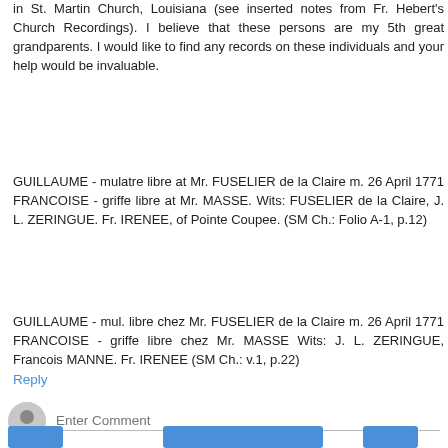in St. Martin Church, Louisiana (see inserted notes from Fr. Hebert's Church Recordings). I believe that these persons are my 5th great grandparents. I would like to find any records on these individuals and your help would be invaluable.
GUILLAUME - mulatre libre at Mr. FUSELIER de la Claire m. 26 April 1771 FRANCOISE - griffe libre at Mr. MASSE. Wits: FUSELIER de la Claire, J. L. ZERINGUE. Fr. IRENEE, of Pointe Coupee. (SM Ch.: Folio A-1, p.12)
GUILLAUME - mul. libre chez Mr. FUSELIER de la Claire m. 26 April 1771 FRANCOISE - griffe libre chez Mr. MASSE Wits: J. L. ZERINGUE, Francois MANNE. Fr. IRENEE (SM Ch.: v.1, p.22)
Reply
Enter Comment